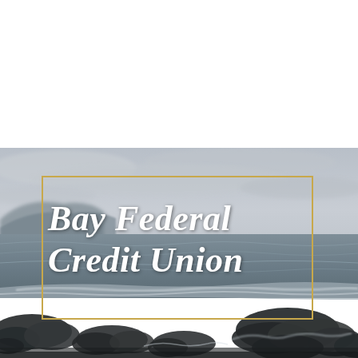[Figure (photo): Coastal ocean scene with rocky shoreline, sea waves, overcast sky and distant cliffs. The lower half of the page is a moody, desaturated photograph of the ocean.]
Bay Federal Credit Union